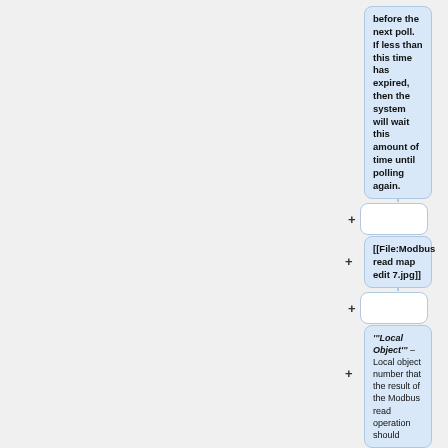before the next poll. If less than this time has expired, then the system will wait this amount of time until polling again.
+
[[File:Modbus read map edit 7.jpg]]
+
'''Local Object''' – Local object number that the result of the Modbus read operation should